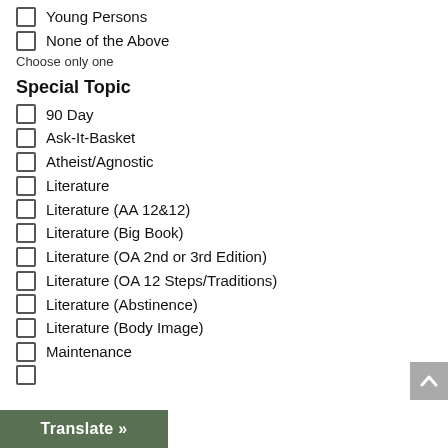Young Persons
None of the Above
Choose only one
Special Topic
90 Day
Ask-It-Basket
Atheist/Agnostic
Literature
Literature (AA 12&12)
Literature (Big Book)
Literature (OA 2nd or 3rd Edition)
Literature (OA 12 Steps/Traditions)
Literature (Abstinence)
Literature (Body Image)
Maintenance